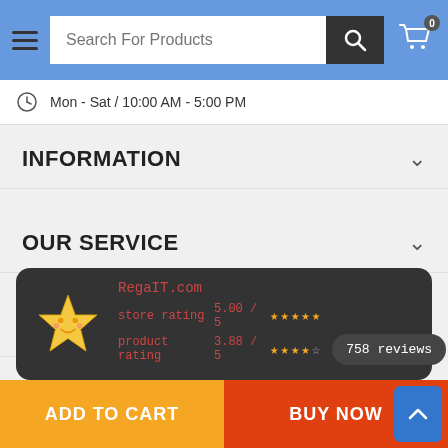[Figure (screenshot): Website navigation header with hamburger menu, search bar reading 'Search For Products', search button, and shopping cart icon with 0 badge]
Mon - Sat / 10:00 AM - 5:00 PM
INFORMATION
OUR SERVICE
MY ACCOUNT
[Figure (infographic): RegaIT.com rating widget on dark background with star mascot, showing store rating 5.00/5 with 5 stars, product rating 3.88/5 with 4 stars, and 758 reviews badge]
ADD TO CART
BUY NOW